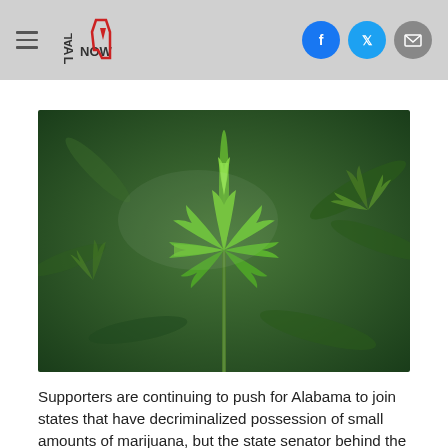ALNOW — navigation header with social share icons (Facebook, Twitter, Email)
[Figure (photo): Close-up photograph of green cannabis (marijuana) plant leaves against a blurred green background]
Supporters are continuing to push for Alabama to join states that have decriminalized possession of small amounts of marijuana, but the state senator behind the bill acknowledged the measure has a